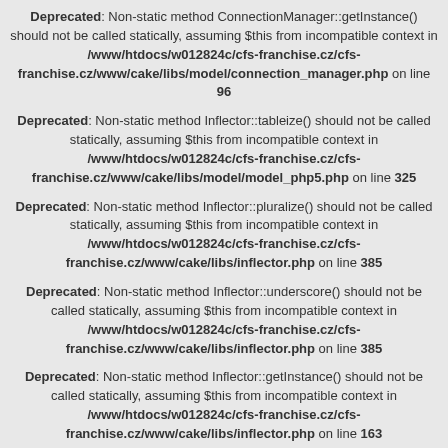Deprecated: Non-static method ConnectionManager::getInstance() should not be called statically, assuming $this from incompatible context in /www/htdocs/w012824c/cfs-franchise.cz/cfs-franchise.cz/www/cake/libs/model/connection_manager.php on line 96
Deprecated: Non-static method Inflector::tableize() should not be called statically, assuming $this from incompatible context in /www/htdocs/w012824c/cfs-franchise.cz/cfs-franchise.cz/www/cake/libs/model/model_php5.php on line 325
Deprecated: Non-static method Inflector::pluralize() should not be called statically, assuming $this from incompatible context in /www/htdocs/w012824c/cfs-franchise.cz/cfs-franchise.cz/www/cake/libs/inflector.php on line 385
Deprecated: Non-static method Inflector::underscore() should not be called statically, assuming $this from incompatible context in /www/htdocs/w012824c/cfs-franchise.cz/cfs-franchise.cz/www/cake/libs/inflector.php on line 385
Deprecated: Non-static method Inflector::getInstance() should not be called statically, assuming $this from incompatible context in /www/htdocs/w012824c/cfs-franchise.cz/cfs-franchise.cz/www/cake/libs/inflector.php on line 163
Deprecated: Non-static method ConnectionManager::getDataSource() should not be called statically, assuming $this from incompatible context in /www/htdocs/w012824c/cfs-franchise.cz/cfs-franchise.cz/www/cake/libs/model/model_php5.php on line 1571